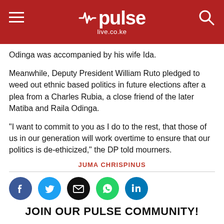pulse live.co.ke
Odinga was accompanied by his wife Ida.
Meanwhile, Deputy President William Ruto pledged to weed out ethnic based politics in future elections after a plea from a Charles Rubia, a close friend of the later Matiba and Raila Odinga.
“I want to commit to you as I do to the rest, that those of us in our generation will work overtime to ensure that our politics is de-ethicized,” the DP told mourners.
JUMA CHRISPINUS
[Figure (other): Social media share icons: Facebook, Twitter, Email, WhatsApp, LinkedIn]
JOIN OUR PULSE COMMUNITY!